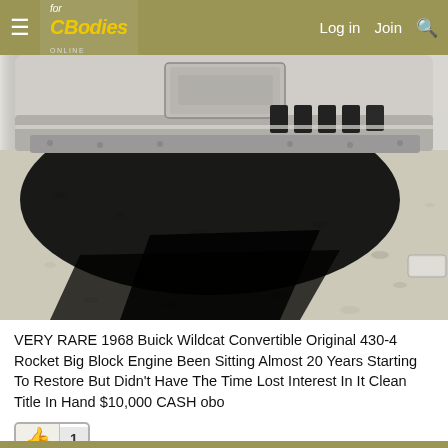For C Bodies Online — Log in  Join  [Search]
[Figure (photo): Close-up photo of the front bumper and undercarriage of a classic car (1968 Buick Wildcat Convertible) resting on gravel/dirt ground, with a large dark shadow cast beneath it. The chrome bumper and some body trim are visible.]
VERY RARE 1968 Buick Wildcat Convertible Original 430-4 Rocket Big Block Engine Been Sitting Almost 20 Years Starting To Restore But Didn't Have The Time Lost Interest In It Clean Title In Hand $10,000 CASH obo